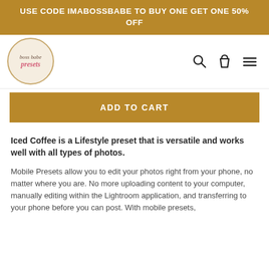USE CODE IMABOSSBABE TO BUY ONE GET ONE 50% OFF
[Figure (logo): Boss Babe Presets circular logo with tan/cream background and pink text]
ADD TO CART
Iced Coffee is a Lifestyle preset that is versatile and works well with all types of photos.
Mobile Presets allow you to edit your photos right from your phone, no matter where you are. No more uploading content to your computer, manually editing within the Lightroom application, and transferring to your phone before you can post. With mobile presets, you can edit within seconds, click and boom, and then share.